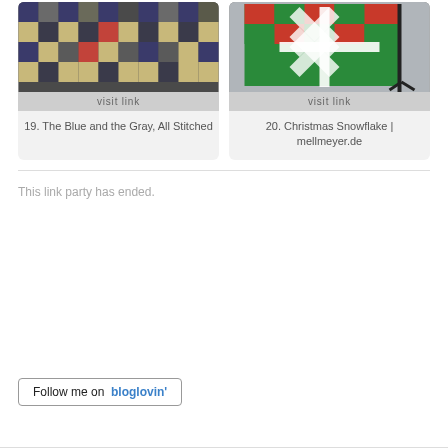[Figure (photo): Quilt photo: The Blue and the Gray, All Stitched - a patchwork quilt with blue, gray, yellow, black, and red squares in a checkerboard-like pattern]
19. The Blue and the Gray, All Stitched
[Figure (photo): Photo of a Christmas Snowflake quilt hanging on a display stand against a gray wall - white snowflake design on red and green patchwork background]
20. Christmas Snowflake | mellmeyer.de
This link party has ended.
Follow me on bloglovin'